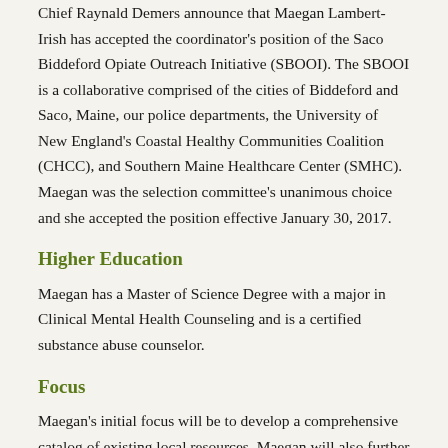Chief Raynald Demers announce that Maegan Lambert-Irish has accepted the coordinator's position of the Saco Biddeford Opiate Outreach Initiative (SBOOI). The SBOOI is a collaborative comprised of the cities of Biddeford and Saco, Maine, our police departments, the University of New England's Coastal Healthy Communities Coalition (CHCC), and Southern Maine Healthcare Center (SMHC). Maegan was the selection committee's unanimous choice and she accepted the position effective January 30, 2017.
Higher Education
Maegan has a Master of Science Degree with a major in Clinical Mental Health Counseling and is a certified substance abuse counselor.
Focus
Maegan's initial focus will be to develop a comprehensive catalog of existing local resources. Maegan will also further develop and enhance the referral process already used by the Biddeford and Saco Police Departments; advancing